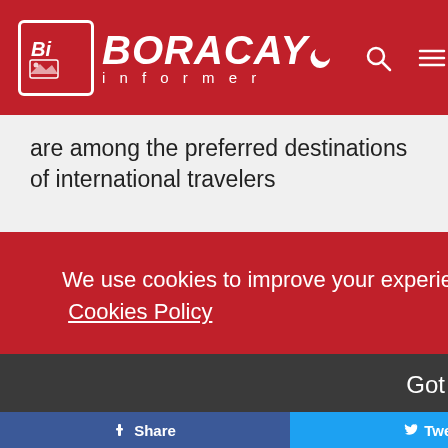BORACAY INFORMER
are among the preferred destinations of international travelers
We use cookies to improve your experience and track website usage  Cookies Policy
Got it
he
Share   Tweet   Send